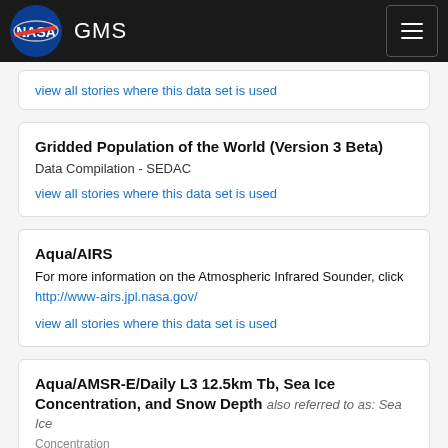NASA GMS
view all stories where this data set is used
Gridded Population of the World (Version 3 Beta)
Data Compilation - SEDAC
view all stories where this data set is used
Aqua/AIRS
For more information on the Atmospheric Infrared Sounder, click http://www-airs.jpl.nasa.gov/
view all stories where this data set is used
Aqua/AMSR-E/Daily L3 12.5km Tb, Sea Ice Concentration, and Snow Depth also referred to as: Sea Ice Concentration